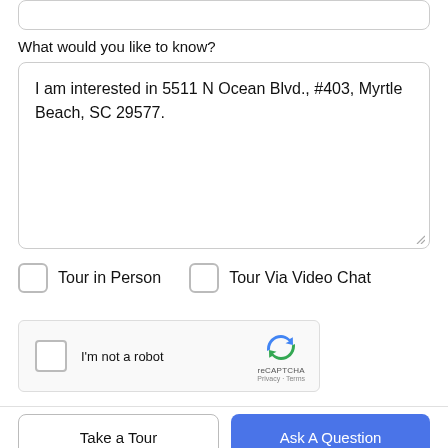What would you like to know?
I am interested in 5511 N Ocean Blvd., #403, Myrtle Beach, SC 29577.
Tour in Person
Tour Via Video Chat
[Figure (other): reCAPTCHA widget with checkbox, 'I'm not a robot' text, reCAPTCHA logo, and Privacy/Terms links]
Take a Tour
Ask A Question